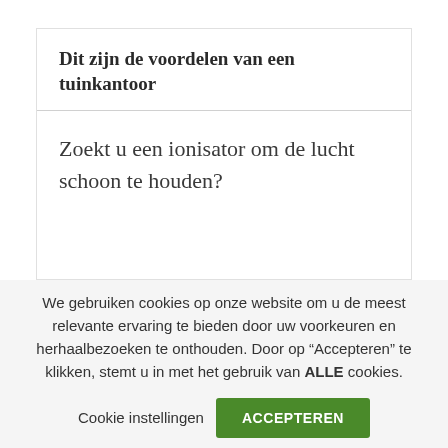Dit zijn de voordelen van een tuinkantoor
Zoekt u een ionisator om de lucht schoon te houden?
We gebruiken cookies op onze website om u de meest relevante ervaring te bieden door uw voorkeuren en herhaalbezoeken te onthouden. Door op “Accepteren” te klikken, stemt u in met het gebruik van ALLE cookies.
Cookie instellingen
ACCEPTEREN